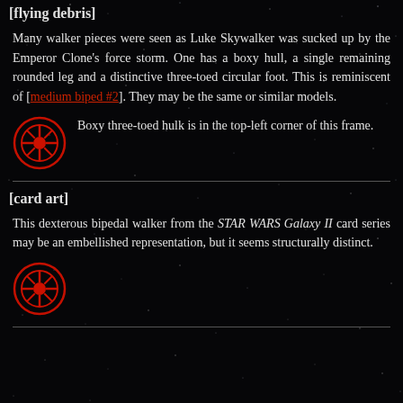[flying debris]
Many walker pieces were seen as Luke Skywalker was sucked up by the Emperor Clone's force storm. One has a boxy hull, a single remaining rounded leg and a distinctive three-toed circular foot. This is reminiscent of [medium biped #2]. They may be the same or similar models.
[Figure (illustration): Red Galactic Empire logo/emblem icon]
Boxy three-toed hulk is in the top-left corner of this frame.
[card art]
This dexterous bipedal walker from the STAR WARS Galaxy II card series may be an embellished representation, but it seems structurally distinct.
[Figure (illustration): Red Galactic Empire logo/emblem icon]